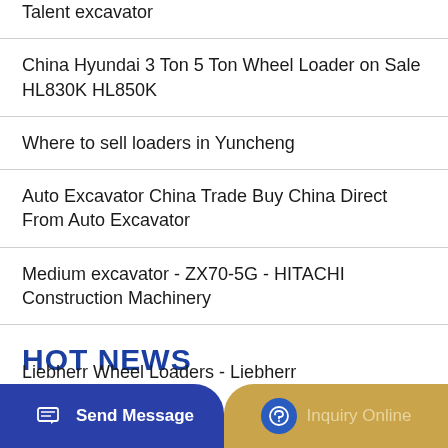Talent excavator
China Hyundai 3 Ton 5 Ton Wheel Loader on Sale HL830K HL850K
Where to sell loaders in Yuncheng
Auto Excavator China Trade Buy China Direct From Auto Excavator
Medium excavator - ZX70-5G - HITACHI Construction Machinery
HOT NEWS
Buy Fuel Pump RE42211 for Hitachi Loader LX100-2
Liebherr Wheel Loaders - Liebherr